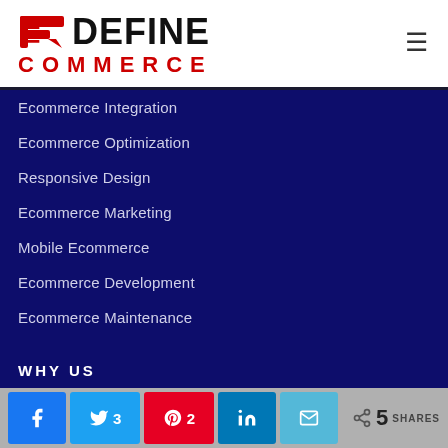[Figure (logo): Redefine Commerce logo with red stylized RE icon and black DEFINE text, red COMMERCE text below]
Ecommerce Integration
Ecommerce Optimization
Responsive Design
Ecommerce Marketing
Mobile Ecommerce
Ecommerce Development
Ecommerce Maintenance
Dedicated Team
WHY US
Social share bar: Facebook, Twitter 3, Pinterest 2, LinkedIn, Email — 5 SHARES